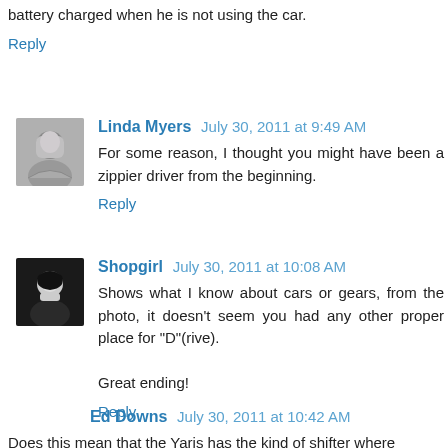battery charged when he is not using the car.
Reply
Linda Myers  July 30, 2011 at 9:49 AM
For some reason, I thought you might have been a zippier driver from the beginning.
Reply
Shopgirl  July 30, 2011 at 10:08 AM
Shows what I know about cars or gears, from the photo, it doesn't seem you had any other proper place for "D"(rive).

Great ending!
Reply
Ed Downs  July 30, 2011 at 10:42 AM
Does this mean that the Yaris has the kind of shifter where